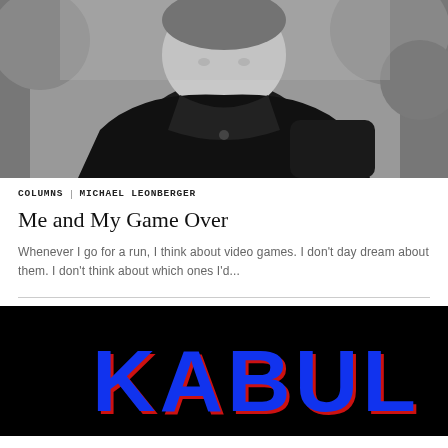[Figure (photo): Black and white photo of a man smiling, wearing a dark leather jacket, seated outdoors with foliage in background]
COLUMNS   MICHAEL LEONBERGER
Me and My Game Over
Whenever I go for a run, I think about video games. I don't day dream about them. I don't think about which ones I'd...
[Figure (photo): Black background with colorful blocky text reading KABUL in blue and red stylized letters]